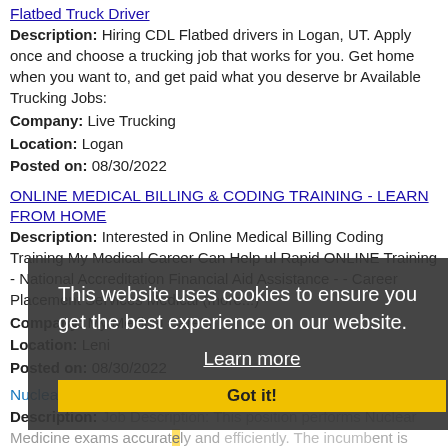Flatbed Truck Driver
Description: Hiring CDL Flatbed drivers in Logan, UT. Apply once and choose a trucking job that works for you. Get home when you want to, and get paid what you deserve br Available Trucking Jobs:
Company: Live Trucking
Location: Logan
Posted on: 08/30/2022
ONLINE MEDICAL BILLING & CODING TRAINING - LEARN FROM HOME
Description: Interested in Online Medical Billing Coding Training My Medical Career Can Help ul Rapid ONLINE Training - National Accreditation Financial Aid Assistance - - Career Placement Services Medical (more...)
Company: My Medical Career
Location: Leni
Posted on: 08/30/2022
Nuclear Medicine Tech - PET/CT
Description: Job Description: This position performs Nuclear Medicine exams accurately and efficiently. The incumbent is responsible to know the processes, equipment, and procedures to conduct PET/CT exams and (more...)
Company: Intermountain Healthcare
This website uses cookies to ensure you get the best experience on our website. Learn more Got it!